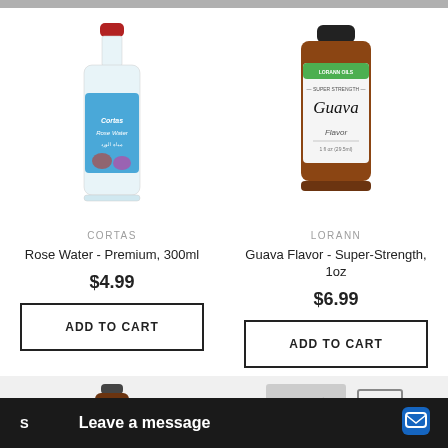[Figure (photo): Cortas Rose Water glass bottle with red cap, 300ml]
CORTAS
Rose Water - Premium, 300ml
$4.99
ADD TO CART
[Figure (photo): LorAnn Guava Flavor Super-Strength 1oz brown glass bottle with white and green label]
LORANN
Guava Flavor - Super-Strength, 1oz
$6.99
ADD TO CART
[Figure (photo): Partial view of a small brown bottle at the bottom left]
[Figure (photo): Partial view of product packaging at the bottom right with a scroll-up button]
S
Leave a message